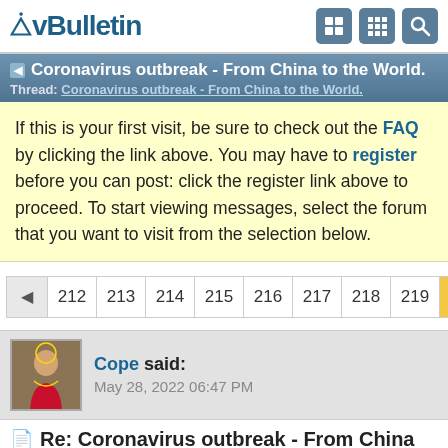vBulletin
Coronavirus outbreak - From China to the World.
Thread: Coronavirus outbreak - From China to the World.
If this is your first visit, be sure to check out the FAQ by clicking the link above. You may have to register before you can post: click the register link above to proceed. To start viewing messages, select the forum that you want to visit from the selection below.
212 213 214 215 216 217 218 219 220
Cope said:
May 28, 2022 06:47 PM
Re: Coronavirus outbreak - From China to the World.
Public health measures borrowed from the Chinese